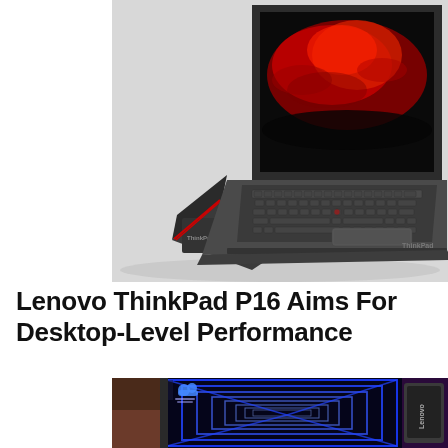[Figure (photo): Lenovo ThinkPad P16 laptop shown from two angles: closed lid showing the back with red accent line, and open showing keyboard and screen displaying a red smoke splash graphic on black background.]
Lenovo ThinkPad P16 Aims For Desktop-Level Performance
[Figure (photo): Lenovo laptop screen displaying a futuristic blue neon tunnel/corridor image, shown at an angle, with Lenovo branding visible on the lid.]